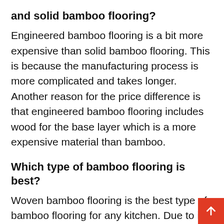and solid bamboo flooring?
Engineered bamboo flooring is a bit more expensive than solid bamboo flooring. This is because the manufacturing process is more complicated and takes longer. Another reason for the price difference is that engineered bamboo flooring includes wood for the base layer which is a more expensive material than bamboo.
Which type of bamboo flooring is best?
Woven bamboo flooring is the best type of bamboo flooring for any kitchen. Due to its robust nature, it can withstand changes in temperature, humidity and humidity, which should be expected in a kitchen. You will also notice